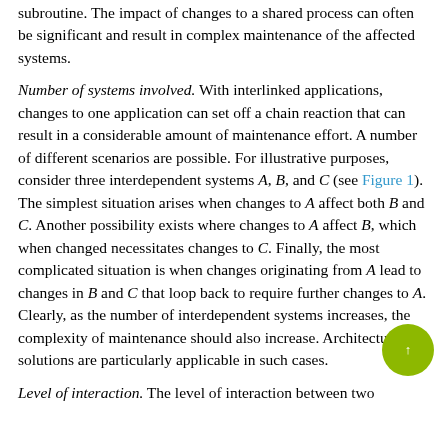subroutine. The impact of changes to a shared process can often be significant and result in complex maintenance of the affected systems.
Number of systems involved. With interlinked applications, changes to one application can set off a chain reaction that can result in a considerable amount of maintenance effort. A number of different scenarios are possible. For illustrative purposes, consider three interdependent systems A, B, and C (see Figure 1). The simplest situation arises when changes to A affect both B and C. Another possibility exists where changes to A affect B, which when changed necessitates changes to C. Finally, the most complicated situation is when changes originating from A lead to changes in B and C that loop back to require further changes to A. Clearly, as the number of interdependent systems increases, the complexity of maintenance should also increase. Architectural solutions are particularly applicable in such cases.
Level of interaction. The level of interaction between two